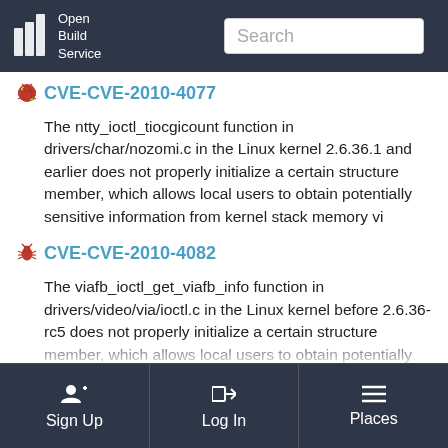Open Build Service — Search bar
CVE-CVE-2010-4077
The ntty_ioctl_tiocgicount function in drivers/char/nozomi.c in the Linux kernel 2.6.36.1 and earlier does not properly initialize a certain structure member, which allows local users to obtain potentially sensitive information from kernel stack memory vi
CVE-CVE-2010-4082
The viafb_ioctl_get_viafb_info function in drivers/video/via/ioctl.c in the Linux kernel before 2.6.36-rc5 does not properly initialize a certain structure member, which allows local users to obtain potentially sensitive information from kernel
Sign Up   Log In   Places